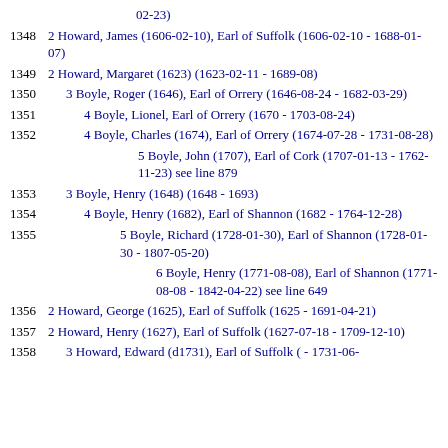02-23)
1348  2 Howard, James (1606-02-10), Earl of Suffolk (1606-02-10 - 1688-01-07)
1349  2 Howard, Margaret (1623) (1623-02-11 - 1689-08)
1350  3 Boyle, Roger (1646), Earl of Orrery (1646-08-24 - 1682-03-29)
1351  4 Boyle, Lionel, Earl of Orrery (1670 - 1703-08-24)
1352  4 Boyle, Charles (1674), Earl of Orrery (1674-07-28 - 1731-08-28)
5 Boyle, John (1707), Earl of Cork (1707-01-13 - 1762-11-23) see line 879
1353  3 Boyle, Henry (1648) (1648 - 1693)
1354  4 Boyle, Henry (1682), Earl of Shannon (1682 - 1764-12-28)
1355  5 Boyle, Richard (1728-01-30), Earl of Shannon (1728-01-30 - 1807-05-20)
6 Boyle, Henry (1771-08-08), Earl of Shannon (1771-08-08 - 1842-04-22) see line 649
1356  2 Howard, George (1625), Earl of Suffolk (1625 - 1691-04-21)
1357  2 Howard, Henry (1627), Earl of Suffolk (1627-07-18 - 1709-12-10)
1358  3 Howard, Edward (d1731), Earl of Suffolk ( - 1731-06-